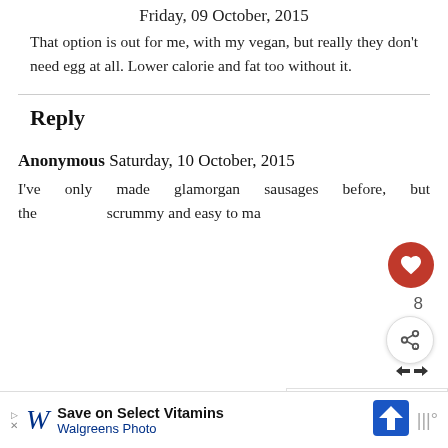Friday, 09 October, 2015
That option is out for me, with my vegan, but really they don't need egg at all. Lower calorie and fat too without it.
Reply
Anonymous Saturday, 10 October, 2015
I've only made glamorgan sausages before, but they are scrummy and easy to make...
[Figure (screenshot): WHAT'S NEXT overlay with Spiced Carrot, Lentil & Kale... thumbnail]
[Figure (screenshot): Advertisement banner: Save on Select Vitamins - Walgreens Photo]